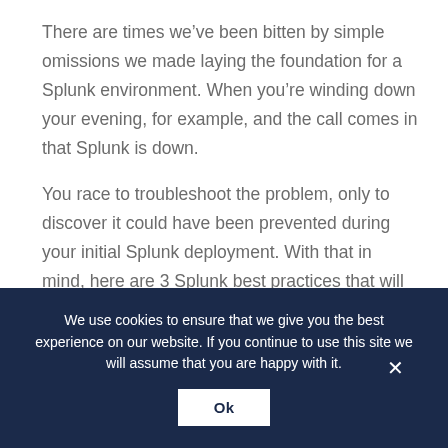There are times we've been bitten by simple omissions we made laying the foundation for a Splunk environment. When you're winding down your evening, for example, and the call comes in that Splunk is down.
You race to troubleshoot the problem, only to discover it could have been prevented during your initial Splunk deployment. With that in mind, here are 3 Splunk best practices that will save you time (and face), and let you enjoy your evenings in peace.
We use cookies to ensure that we give you the best experience on our website. If you continue to use this site we will assume that you are happy with it.